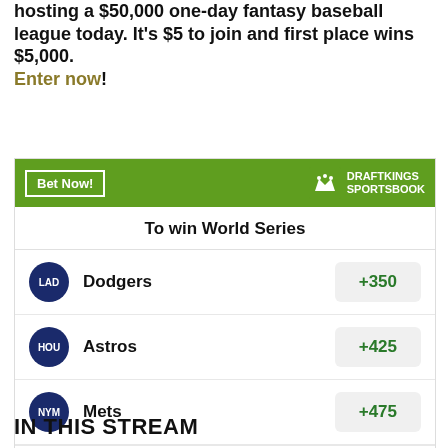hosting a $50,000 one-day fantasy baseball league today. It's $5 to join and first place wins $5,000. Enter now!
[Figure (other): DraftKings Sportsbook widget showing 'To win World Series' odds. Bet Now button, DraftKings Sportsbook logo on green header. Teams listed: Dodgers +350, Astros +425, Mets +475, Yankees +500 (partially visible). Footer: Odds/Lines subject to change. See draftkings.com for details.]
IN THIS STREAM